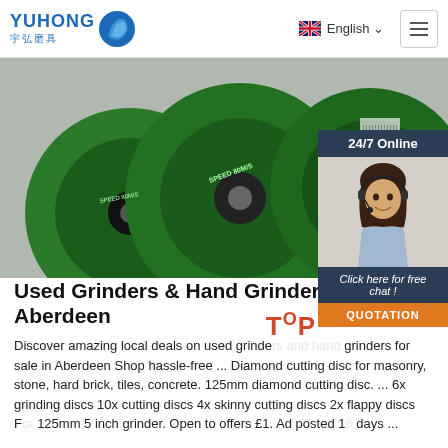YUHONG 宇弘磨具 | English | Menu
[Figure (photo): Green grinding/cutting discs stacked on a surface, product photo for abrasive tools]
[Figure (photo): 24/7 Online chat widget with woman wearing headset, Click here for free chat, QUOTATION button]
Used Grinders & Hand Grinders For Sale Aberdeen
Discover amazing local deals on used grinders grinders for sale in Aberdeen Shop hassle-free ... Diamond cutting disc for masonry, stone, hard brick, tiles, concrete. 125mm diamond cutting disc. ... 6x grinding discs 10x cutting discs 4x skinny cutting discs 2x flappy discs For 125mm 5 inch grinder. Open to offers £1. Ad posted 16 days ...